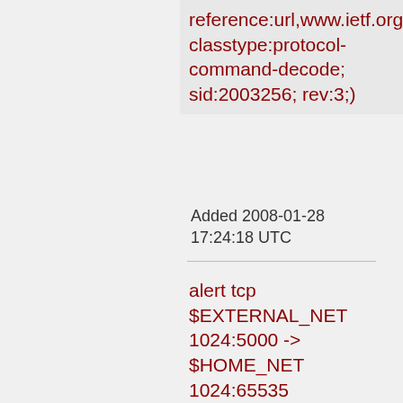reference:url,www.ietf.org classtype:protocol-command-decode; sid:2003256; rev:3;)
Added 2008-01-28 17:24:18 UTC
alert tcp $EXTERNAL_NET 1024:5000 -> $HOME_NET 1024:65535 (msg:"BLEEDING-EDGE MALWARE SOCKSv4 Port 25 Inbound Request (Windows Source)"; dsize:9<>18;